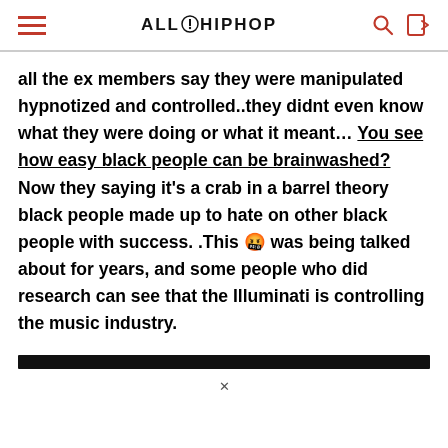ALLHIPHOP
all the ex members say they were manipulated hypnotized and controlled..they didnt even know what they were doing or what it meant… You see how easy black people can be brainwashed? Now they saying it's a crab in a barrel theory black people made up to hate on other black people with success. .This 🤬 was being talked about for years, and some people who did research can see that the Illuminati is controlling the music industry.